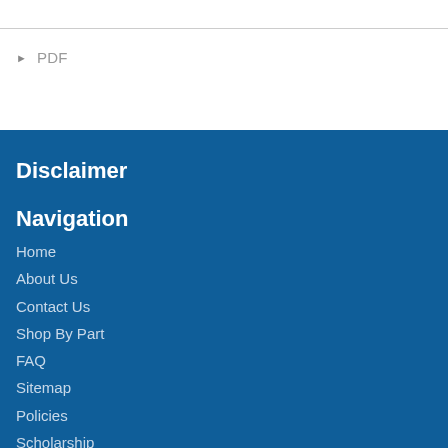PDF
Disclaimer
Navigation
Home
About Us
Contact Us
Shop By Part
FAQ
Sitemap
Policies
Scholarship
Blog